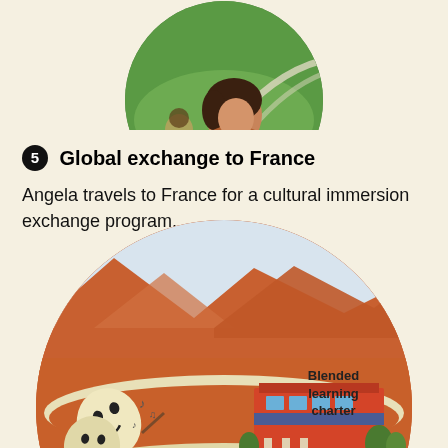[Figure (illustration): Circular illustration showing a person (Angela) with dark curly hair and a green outdoor background, partially cropped at top of page.]
5 Global exchange to France
Angela travels to France for a cultural immersion exchange program.
[Figure (illustration): Large circular illustration showing a scenic landscape with orange-red mountains in the background under a light sky, with theatre/drama masks and musical notes on the left side, a modern school building (blended learning charter) on the right side, a cream/beige curved road/path through the scene, and trees at the bottom. Partially cropped at bottom of page.]